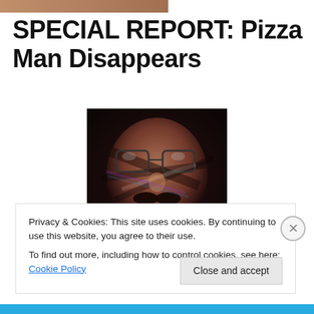[Figure (photo): Partial cropped image strip at top of page, showing muted warm tones]
SPECIAL REPORT: Pizza Man Disappears
[Figure (photo): Close-up stylized image of a man's face with glasses and a mustache, dark and dramatic coloring]
Brian Schropp, Special Pizza Correspondent
Privacy & Cookies: This site uses cookies. By continuing to use this website, you agree to their use.
To find out more, including how to control cookies, see here: Cookie Policy
Close and accept